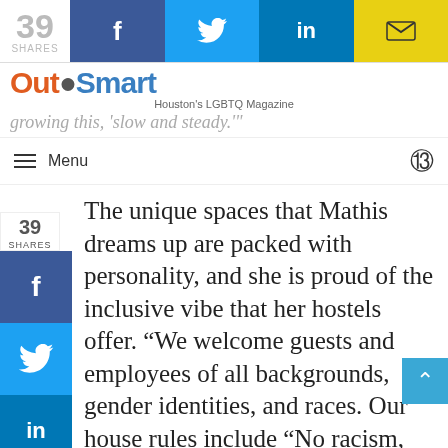39 SHARES | Facebook | Twitter | LinkedIn | Email
OutSmart — Houston's LGBTQ Magazine
growing this, 'slow and steady.'
Menu
The unique spaces that Mathis dreams up are packed with personality, and she is proud of the inclusive vibe that her hostels offer. “We welcome guests and employees of all backgrounds, gender identities, and races. Our house rules include “No racism, no homophobia, no hate, and all love. We literally welcome everyone.”
For more information, visit wanderstayhotels.com.